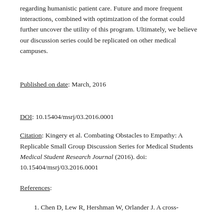regarding humanistic patient care. Future and more frequent interactions, combined with optimization of the format could further uncover the utility of this program. Ultimately, we believe our discussion series could be replicated on other medical campuses.
Published on date: March, 2016
DOI: 10.15404/msrj/03.2016.0001
Citation: Kingery et al. Combating Obstacles to Empathy: A Replicable Small Group Discussion Series for Medical Students Medical Student Research Journal (2016). doi: 10.15404/msrj/03.2016.0001
References:
1. Chen D, Lew R, Hershman W, Orlander J. A cross-